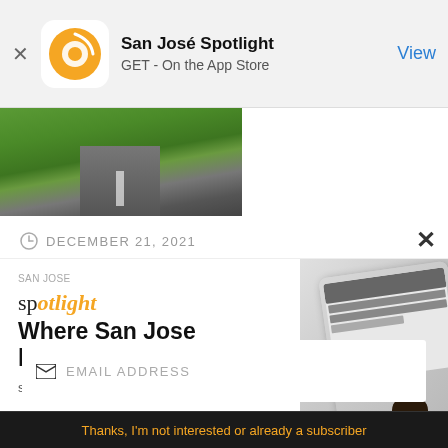[Figure (screenshot): App store banner for San José Spotlight with orange circular logo, app name, GET - On the App Store text, and View button]
[Figure (photo): Aerial view of a road through green vegetation]
DECEMBER 21, 2021
[Figure (advertisement): San Jose Spotlight advertisement: 'Where San Jose locals start the day.' with sanjosespotlight.com and image of tablet device]
EMAIL ADDRESS
SUBSCRIBE
Thanks, I'm not interested or already a subscriber